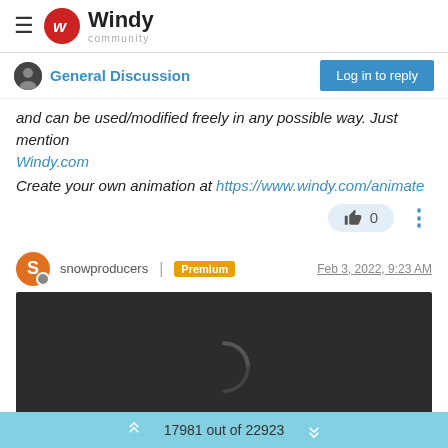Windy community
General Discussion
and can be used/modified freely in any possible way. Just mention Windy.com
Create your own animation at https://www.windy.com/animate
snowproducers | Premium   Feb 3, 2022, 9:23 AM
[Figure (screenshot): Embedded video player with dark background, loading spinner, and playback controls showing 0:00]
17981 out of 22923